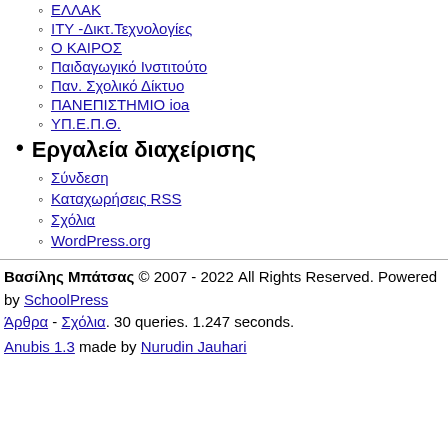ΕΛΛΑΚ
ΙΤΥ -Δικτ.Τεχνολογίες
Ο ΚΑΙΡΟΣ
Παιδαγωγικό Ινστιτούτο
Παν. Σχολικό Δίκτυο
ΠΑΝΕΠΙΣΤΗΜΙΟ ioa
ΥΠ.Ε.Π.Θ.
Εργαλεία διαχείρισης
Σύνδεση
Καταχωρήσεις RSS
Σχόλια
WordPress.org
Βασίλης Μπάτσας © 2007 - 2022 All Rights Reserved. Powered by SchoolPress
Άρθρα - Σχόλια. 30 queries. 1.247 seconds.
Anubis 1.3 made by Nurudin Jauhari